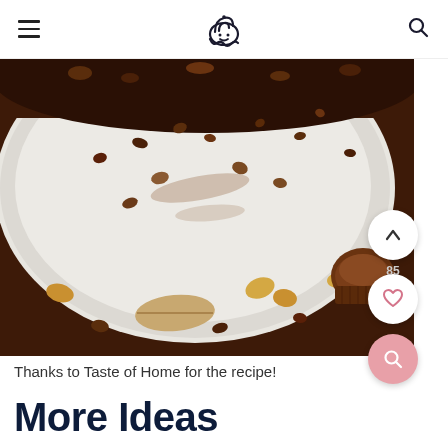[cupcake logo icon] [hamburger menu] [search icon]
[Figure (photo): Close-up photo of a plate with chocolate chips and cocoa dusting scattered across a white plate surface, with peanuts and a Reese's peanut butter cup visible on a dark brown background. Up arrow button (85 count), heart button, and pink search button overlaid on the right side.]
Thanks to Taste of Home for the recipe!
More Ideas